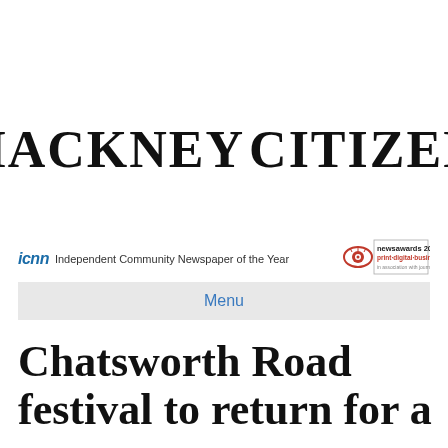[Figure (logo): Hackney Citizen newspaper masthead logo with crest/bird emblem between HACKNEY and CITIZEN in large black serif type]
icnn Independent Community Newspaper of the Year
[Figure (logo): newsawards 2021 print-digital-business badge with eye graphic]
Menu
Chatsworth Road festival to return for a